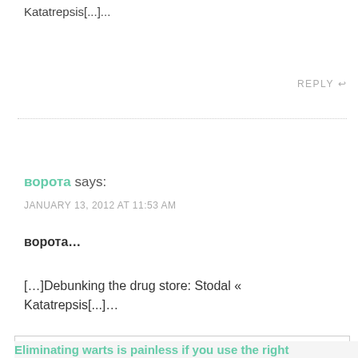Katatrepsis[...]...
REPLY
ворота says:
JANUARY 13, 2012 AT 11:53 AM
ворота...
[…]Debunking the drug store: Stodal « Katatrepsis[...]...
Privacy & Cookies: This site uses cookies. By continuing to use this website, you agree to their use.
To find out more, including how to control cookies, see here: Cookie Policy
Close and accept
Eliminating warts is painless if you use the right